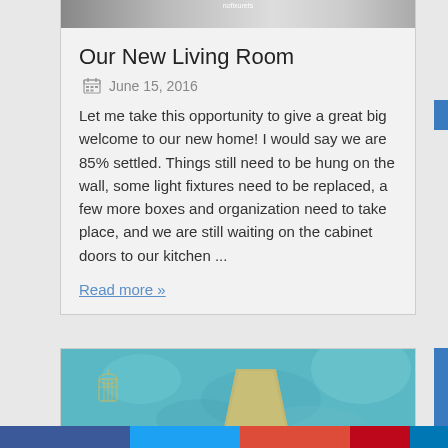[Figure (photo): Top portion of a blog post card showing a partially visible room photo at the top]
Our New Living Room
June 15, 2016
Let me take this opportunity to give a great big welcome to our new home!  I would say we are 85% settled.  Things still need to be hung on the wall, some light fixtures need to be replaced, a few more boxes and organization need to take place, and we are still waiting on the cabinet doors to our kitchen ...
Read more »
[Figure (photo): Second blog post card showing a lamp against a teal/blue decorative background]